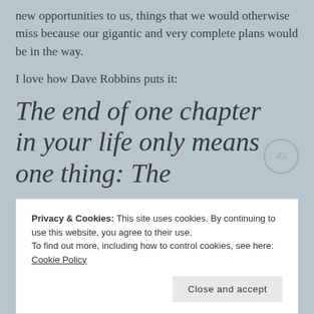new opportunities to us, things that we would otherwise miss because our gigantic and very complete plans would be in the way.
I love how Dave Robbins puts it:
The end of one chapter in your life only means one thing: The
Privacy & Cookies: This site uses cookies. By continuing to use this website, you agree to their use.
To find out more, including how to control cookies, see here:
Cookie Policy
Close and accept